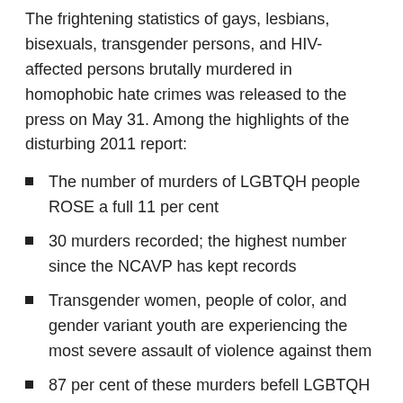The frightening statistics of gays, lesbians, bisexuals, transgender persons, and HIV-affected persons brutally murdered in homophobic hate crimes was released to the press on May 31. Among the highlights of the disturbing 2011 report:
The number of murders of LGBTQH people ROSE a full 11 per cent
30 murders recorded; the highest number since the NCAVP has kept records
Transgender women, people of color, and gender variant youth are experiencing the most severe assault of violence against them
87 per cent of these murders befell LGBTQH people of color
This high murder rate is the third year in a row (2009,